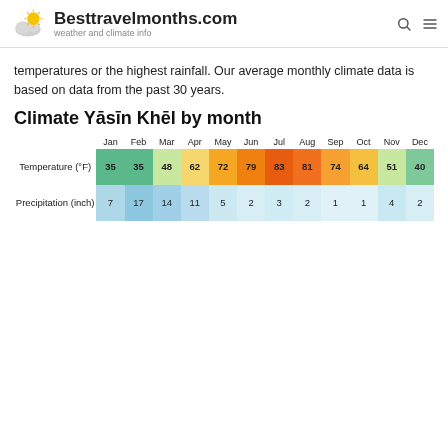Besttravelmonths.com — weather and climate info
temperatures or the highest rainfall. Our average monthly climate data is based on data from the past 30 years.
Climate Yāsīn Khēl by month
|  | Jan | Feb | Mar | Apr | May | Jun | Jul | Aug | Sep | Oct | Nov | Dec |
| --- | --- | --- | --- | --- | --- | --- | --- | --- | --- | --- | --- | --- |
| Temperature (°F) | 35 | 35 | 48 | 62 | 72 | 79 | 83 | 81 | 74 | 64 | 51 | 40 |
| Precipitation (inch) | 7 | 17 | 14 | 11 | 5 | 2 | 3 | 2 | 1 | 1 | 4 | 2 |